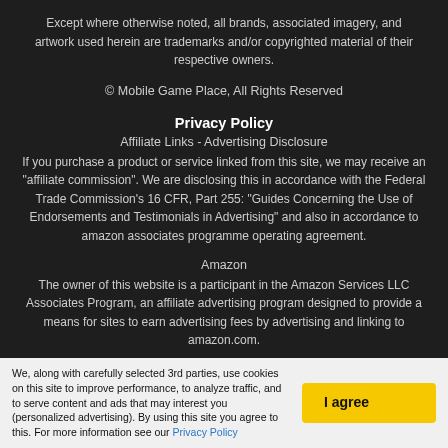Except where otherwise noted, all brands, associated imagery, and artwork used herein are trademarks and/or copyrighted material of their respective owners.
© Mobile Game Place, All Rights Reserved
Privacy Policy
Affiliate Links - Advertising Disclosure
If you purchase a product or service linked from this site, we may receive an "affiliate commission". We are disclosing this in accordance with the Federal Trade Commission's 16 CFR, Part 255: "Guides Concerning the Use of Endorsements and Testimonials in Advertising" and also in accordance to amazon associates programme operating agreement.
Amazon
The owner of this website is a participant in the Amazon Services LLC Associates Program, an affiliate advertising program designed to provide a means for sites to earn advertising fees by advertising and linking to amazon.com.
Amazon and the Amazon logo are trademarks of Amazon.com, Inc.
We, along with carefully selected 3rd parties, use cookies on this site to improve performance, to analyze traffic, and to serve content and ads that may interest you (personalized advertising). By using this site you agree to this. For more information see our Privacy Policy
I agree